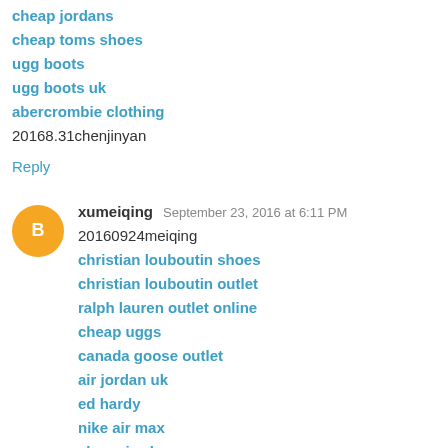cheap jordans
cheap toms shoes
ugg boots
ugg boots uk
abercrombie clothing
20168.31chenjinyan
Reply
xumeiqing  September 23, 2016 at 6:11 PM
20160924meiqing
christian louboutin shoes
christian louboutin outlet
ralph lauren outlet online
cheap uggs
canada goose outlet
air jordan uk
ed hardy
nike air max
cheap jordans
converse outlet